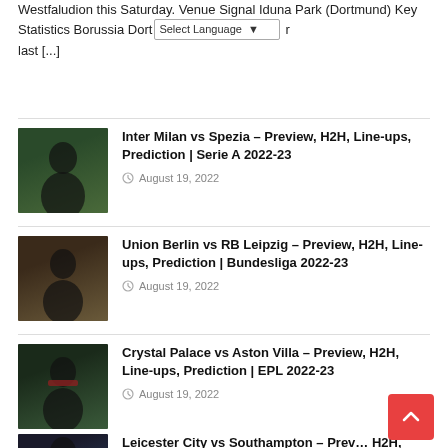Westfaludion this Saturday. Venue Signal Iduna Park (Dortmund) Key Statistics Borussia Dort... r last [...]
Inter Milan vs Spezia – Preview, H2H, Line-ups, Prediction | Serie A 2022-23
August 19, 2022
Union Berlin vs RB Leipzig – Preview, H2H, Line-ups, Prediction | Bundesliga 2022-23
August 19, 2022
Crystal Palace vs Aston Villa – Preview, H2H, Line-ups, Prediction | EPL 2022-23
August 19, 2022
Leicester City vs Southampton – Preview, H2H, Line-ups, Prediction | EPL 2022-23
August 19, 2022